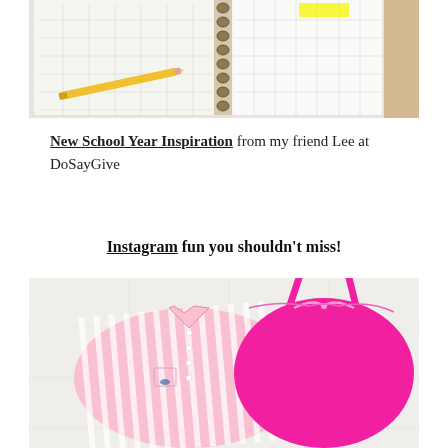[Figure (photo): A spiral-bound planner/calendar open to a monthly view with a yellow pencil resting on it and a yellow highlighted sticky note on one date, on a light wooden surface.]
New School Year Inspiration from my friend Lee at DoSayGive
Instagram fun you shouldn't miss!
[Figure (photo): Two pink garments laid flat on a white surface: a pink and white striped button-down shirt on the left and a solid hot pink camisole/dress with thin straps on the right.]